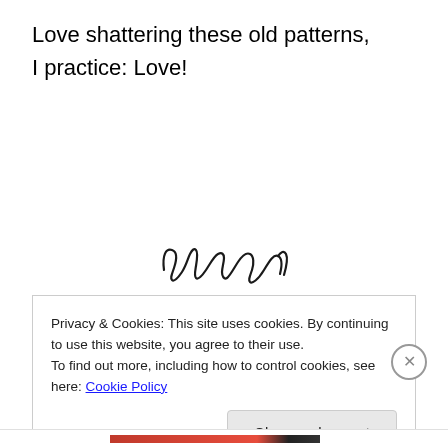Love shattering these old patterns,
I practice: Love!
[Figure (illustration): A handwritten cursive signature in black ink, appearing to read 'Richard' or similar name]
Privacy & Cookies: This site uses cookies. By continuing to use this website, you agree to their use.
To find out more, including how to control cookies, see here: Cookie Policy
Close and accept